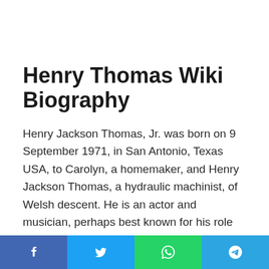Henry Thomas Wiki Biography
Henry Jackson Thomas, Jr. was born on 9 September 1971, in San Antonio, Texas USA, to Carolyn, a homemaker, and Henry Jackson Thomas, a hydraulic machinist, of Welsh descent. He is an actor and musician, perhaps best known for his role as Elliott Taylor in Steven Spielberg's film “E.T. the Extra-Terrestrial” as well as for his roles in the films
f  t  WhatsApp  Telegram